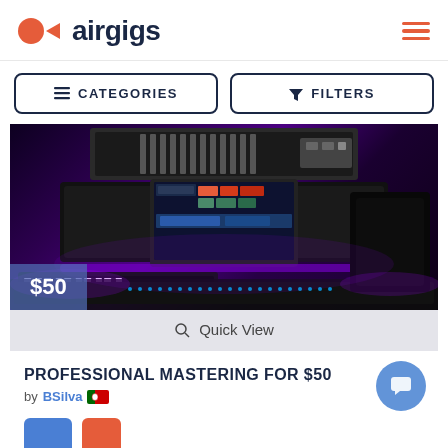[Figure (logo): Airgigs logo with orange circle and play button icon, followed by bold dark text 'airgigs']
≡ CATEGORIES
▼ FILTERS
[Figure (photo): Music production studio setup with laptop showing DAW software, hardware rack, keyboard controller, all lit with purple/violet neon lighting. Price badge shows $50.]
🔍 Quick View
PROFESSIONAL MASTERING FOR $50
by BSilva 🇵🇹